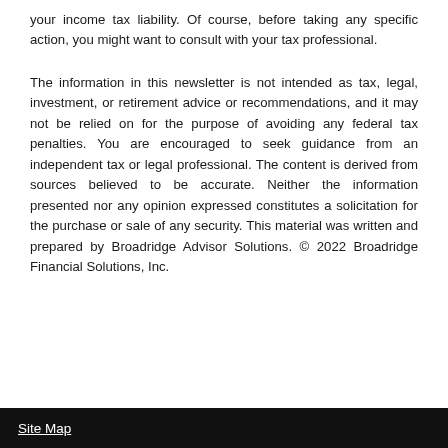your income tax liability. Of course, before taking any specific action, you might want to consult with your tax professional.
The information in this newsletter is not intended as tax, legal, investment, or retirement advice or recommendations, and it may not be relied on for the purpose of avoiding any federal tax penalties. You are encouraged to seek guidance from an independent tax or legal professional. The content is derived from sources believed to be accurate. Neither the information presented nor any opinion expressed constitutes a solicitation for the purchase or sale of any security. This material was written and prepared by Broadridge Advisor Solutions. © 2022 Broadridge Financial Solutions, Inc.
Site Map